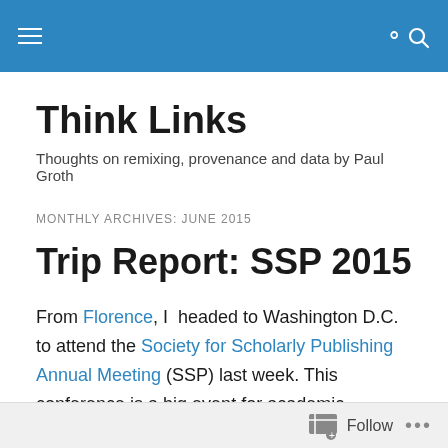Think Links
Think Links
Thoughts on remixing, provenance and data by Paul Groth
MONTHLY ARCHIVES: JUNE 2015
Trip Report: SSP 2015
From Florence, I headed to Washington D.C. to attend the Society for Scholarly Publishing Annual Meeting (SSP) last week. This conference is a big event for academic publishers. It's primarily attended by people who either
Follow ...